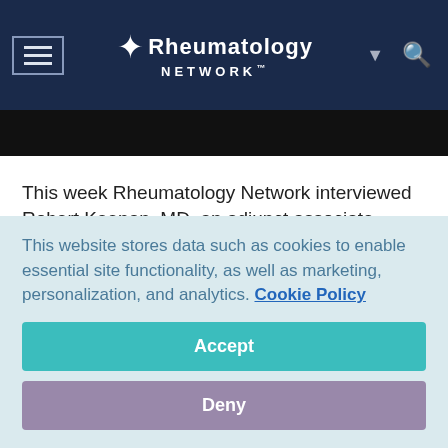Rheumatology Network
[Figure (screenshot): Black image strip at top below navigation bar]
This week Rheumatology Network interviewed Robert Keenan, MD, an adjunct associate professor at Duke University School of Medicine, for his study on “The effect of immunomodulators on the efficacy and tolerability of pegloticase: a systematic review.” A common issue for patients with gout is developing antidrug antibodies, also known as ADAs, which reduces and effectively neutralizes the
This website stores data such as cookies to enable essential site functionality, as well as marketing, personalization, and analytics. Cookie Policy